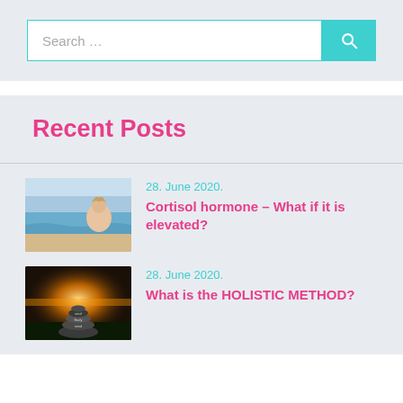[Figure (screenshot): Search bar with teal border and teal search button with magnifying glass icon]
Recent Posts
[Figure (photo): Woman on beach, beach scene with water and sky]
28. June 2020.
Cortisol hormone – What if it is elevated?
[Figure (photo): Stacked stones with sunrise/sunset light in background, text on stones reading mind body soul]
28. June 2020.
What is the HOLISTIC METHOD?